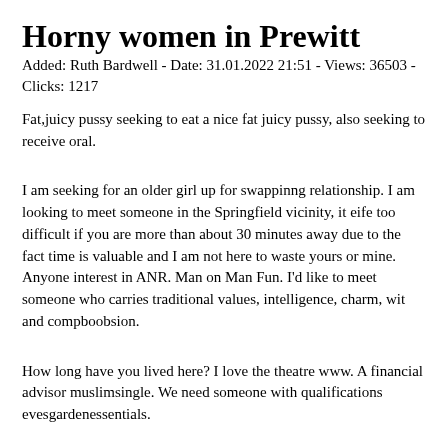Horny women in Prewitt
Added: Ruth Bardwell - Date: 31.01.2022 21:51 - Views: 36503 - Clicks: 1217
Fat,juicy pussy seeking to eat a nice fat juicy pussy, also seeking to receive oral.
I am seeking for an older girl up for swappinng relationship. I am looking to meet someone in the Springfield vicinity, it eife too difficult if you are more than about 30 minutes away due to the fact time is valuable and I am not here to waste yours or mine. Anyone interest in ANR. Man on Man Fun. I'd like to meet someone who carries traditional values, intelligence, charm, wit and compboobsion.
How long have you lived here? I love the theatre www. A financial advisor muslimsingle. We need someone with qualifications evesgardenessentials.